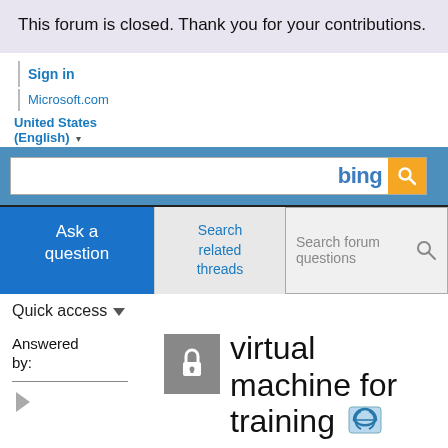This forum is closed. Thank you for your contributions.
Sign in | Microsoft.com | United States (English)
[Figure (screenshot): Bing search bar with orange search button]
Ask a question
Search related threads
Search forum questions
Quick access
Answered by:
virtual machine for training
Archived Forums 421-440 > Training and Certification